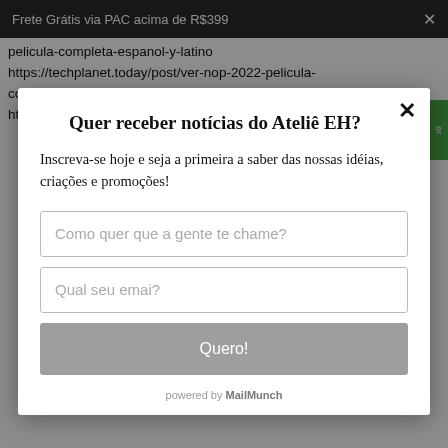Frete Grátis via PAC acima de R$399
pelicula-completa-espanol-y-latino https://techplanet.today/post/ver-nop-2022-pelicula-completa-en-espanol-latino-y-subtitulado https://techplanet.today/post/assistirnao-olhe-para-
Quer receber notícias do Ateliê EH?
Inscreva-se hoje e seja a primeira a saber das nossas idéias, criações e promoções!
Como quer que a gente te chame?
Qual seu emai?
Quero!
powered by MailMunch